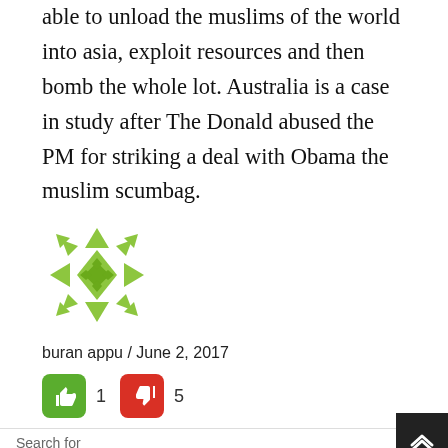able to unload the muslims of the world into asia, exploit resources and then bomb the whole lot. Australia is a case in study after The Donald abused the PM for striking a deal with Obama the muslim scumbag.
[Figure (logo): Green geometric avatar icon with diamond and triangle patterns]
buran appu / June 2, 2017
👍 1  👎 5
Search for
01. Federal Pay Raise 2021
02. Top Rated Email Marketing Software
Yahoo! Search | Sponsored